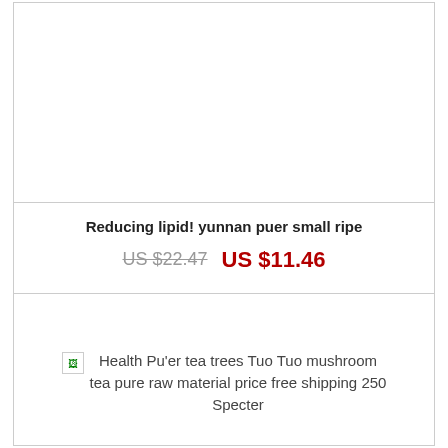[Figure (photo): Product image area - blank/white]
Reducing lipid! yunnan puer small ripe
US $22.47  US $11.46
Health Pu'er tea trees Tuo Tuo mushroom tea pure raw material price free shipping 250 Specter